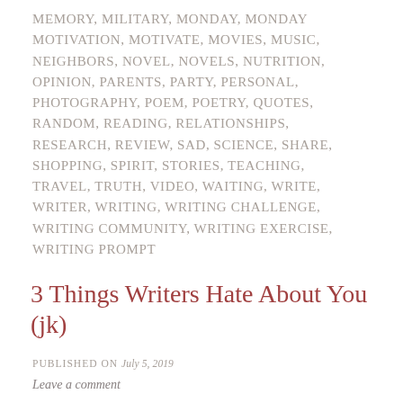MEMORY, MILITARY, MONDAY, MONDAY MOTIVATION, MOTIVATE, MOVIES, MUSIC, NEIGHBORS, NOVEL, NOVELS, NUTRITION, OPINION, PARENTS, PARTY, PERSONAL, PHOTOGRAPHY, POEM, POETRY, QUOTES, RANDOM, READING, RELATIONSHIPS, RESEARCH, REVIEW, SAD, SCIENCE, SHARE, SHOPPING, SPIRIT, STORIES, TEACHING, TRAVEL, TRUTH, VIDEO, WAITING, WRITE, WRITER, WRITING, WRITING CHALLENGE, WRITING COMMUNITY, WRITING EXERCISE, WRITING PROMPT
3 Things Writers Hate About You (jk)
PUBLISHED ON July 5, 2019
Leave a comment